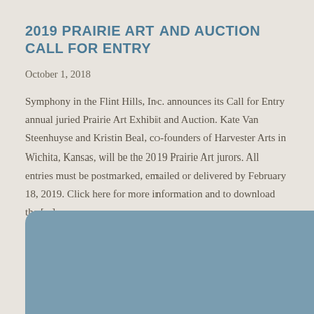2019 PRAIRIE ART AND AUCTION CALL FOR ENTRY
October 1, 2018
Symphony in the Flint Hills, Inc. announces its Call for Entry annual juried Prairie Art Exhibit and Auction. Kate Van Steenhuyse and Kristin Beal, co-founders of Harvester Arts in Wichita, Kansas, will be the 2019 Prairie Art jurors. All entries must be postmarked, emailed or delivered by February 18, 2019. Click here for more information and to download the [...]
[Figure (other): Blue-gray rounded rectangle decorative block at the bottom of the page]